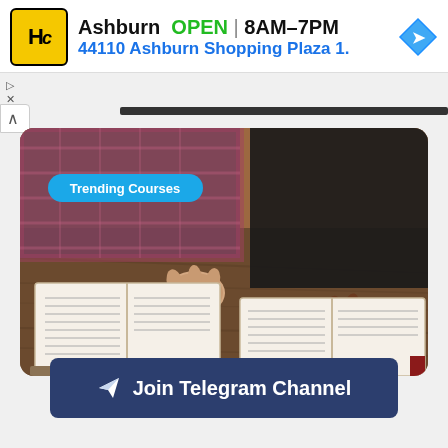[Figure (screenshot): Ad banner for Hairclub showing logo, Ashburn location, OPEN status 8AM-7PM, address 44110 Ashburn Shopping Plaza 1., and a navigation arrow icon]
[Figure (photo): Two people studying open Bibles on a wooden table, with a 'Trending Courses' label overlay in the top-left area of the image]
Join Telegram Channel